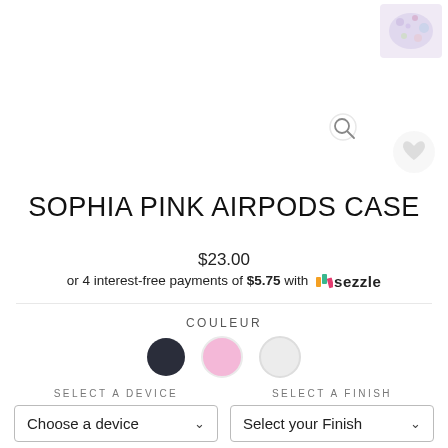[Figure (photo): Thumbnail of Sophia Pink AirPods Case product image in top-right corner]
[Figure (illustration): Search magnifying glass icon]
[Figure (illustration): Wishlist/heart icon button]
SOPHIA PINK AIRPODS CASE
$23.00
or 4 interest-free payments of $5.75 with Sezzle
COULEUR
[Figure (illustration): Three color swatches: dark navy, pink, light gray]
SELECT A DEVICE
SELECT A FINISH
Choose a device
Select your Finish